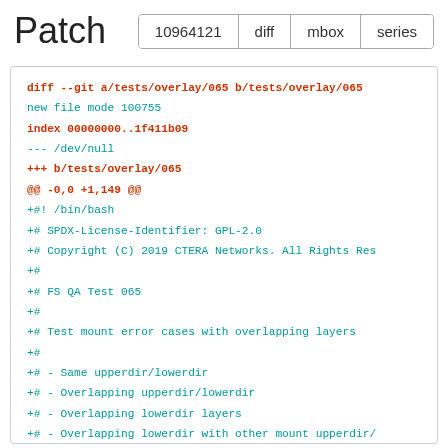Patch
10964121  diff  mbox  series
diff --git a/tests/overlay/065 b/tests/overlay/065
new file mode 100755
index 00000000..1f411b09
--- /dev/null
+++ b/tests/overlay/065
@@ -0,0 +1,149 @@
+#! /bin/bash
+# SPDX-License-Identifier: GPL-2.0
+# Copyright (C) 2019 CTERA Networks. All Rights Reserved.
+#
+# FS QA Test 065
+#
+# Test mount error cases with overlapping layers
+#
+# - Same upperdir/lowerdir
+# - Overlapping upperdir/lowerdir
+# - Overlapping lowerdir layers
+# - Overlapping lowerdir with other mount upperdir/
+#
+# Overlapping layers on mount or lookup results in
+# Overlapping lowerdir with other mount upperdir/wo
+# result in EBUSY.
+#
+seq=`basename $0`
+seqres=$RESULT_DIR/$seq
+echo "QA output created by $seq"
+